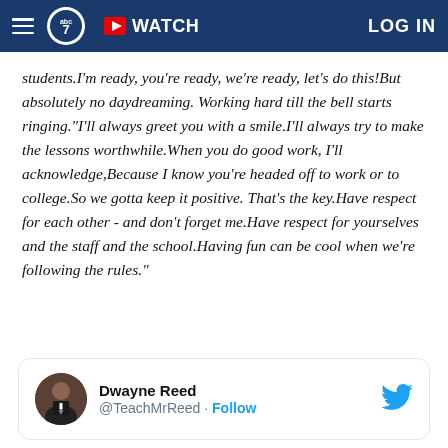ABC7 navigation bar with logo, WATCH button, and LOG IN
students.I'm ready, you're ready, we're ready, let's do this!But absolutely no daydreaming. Working hard till the bell starts ringing."I'll always greet you with a smile.I'll always try to make the lessons worthwhile.When you do good work, I'll acknowledge,Because I know you're headed off to work or to college.So we gotta keep it positive. That's the key.Have respect for each other - and don't forget me.Have respect for yourselves and the staff and the school.Having fun can be cool when we're following the rules."
[Figure (screenshot): Tweet card showing Dwayne Reed (@TeachMrReed) with Follow button and Twitter bird logo]